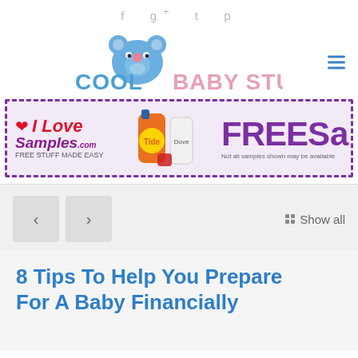f g+ t p
[Figure (logo): Cool Baby Stuff logo with blue bear icon and text COOL BABY STUFF]
[Figure (infographic): I Love Samples.com advertisement banner with Tide bottle, Dove bottle, and FREE Sa... text. Note: Not all samples shown may be available.]
< > :: Show all
8 Tips To Help You Prepare For A Baby Financially